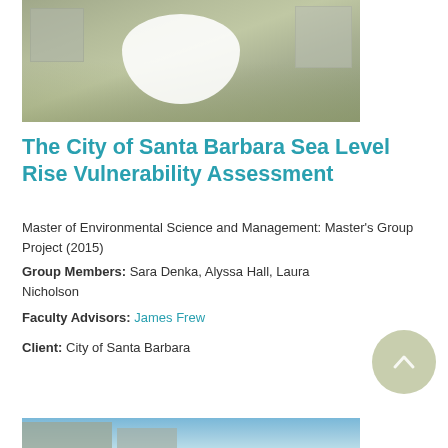[Figure (photo): Photograph showing a grassy field with buildings in background and a large white oval/egg shape overlay in the center]
The City of Santa Barbara Sea Level Rise Vulnerability Assessment
Master of Environmental Science and Management: Master's Group Project (2015)
Group Members: Sara Denka, Alyssa Hall, Laura Nicholson
Faculty Advisors: James Frew
Client: City of Santa Barbara
[Figure (photo): Partial view of a building photograph at the bottom of the page, showing sky and structure]